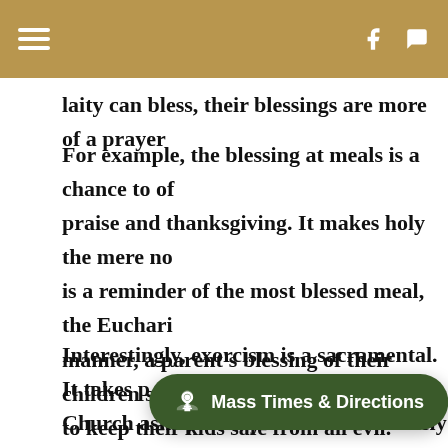laity can bless, their blessings are more of a prayer
For example, the blessing at meals is a chance to offer praise and thanksgiving. It makes holy the mere no is a reminder of the most blessed meal, the Euchari manner, a parent's blessing of their children serves to keep their kids safe from all evil.
Interestingly, exorcism is a sacramental. It takes p Church asks publicly and authoritatively in the na that a person or object be protected against the po and withdrawn fr
Mass Times & Directions